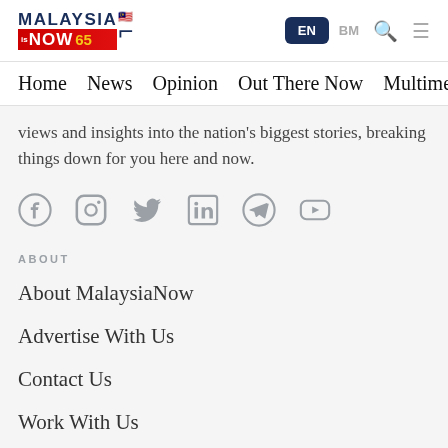MalaysiaNow EN BM
Home  News  Opinion  Out There Now  Multimedia
views and insights into the nation's biggest stories, breaking things down for you here and now.
[Figure (infographic): Social media icons row: Facebook, Instagram, Twitter, LinkedIn, Telegram, YouTube — all in grey]
ABOUT
About MalaysiaNow
Advertise With Us
Contact Us
Work With Us